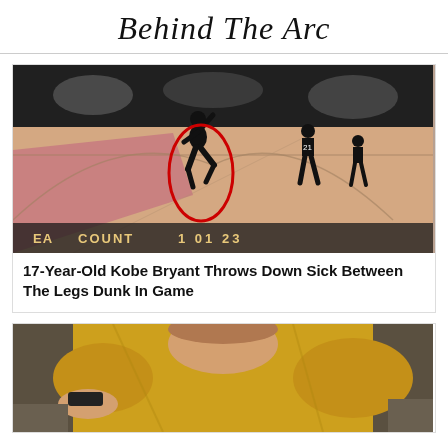Behind The Arc
[Figure (photo): Basketball game screenshot showing a player mid-air performing a dunk, circled in red, with scoreboard overlay showing COUNT 1 01 23. Black and white image of crowded gym in background.]
17-Year-Old Kobe Bryant Throws Down Sick Between The Legs Dunk In Game
[Figure (photo): Player in yellow jersey lying on floor, viewed from above, partially cropped.]